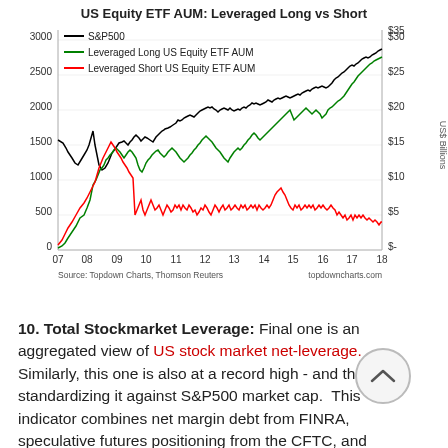[Figure (line-chart): Multi-series line chart showing S&P500 index (left axis, 0-3000) and Leveraged Long and Short US Equity ETF AUM in US$ Billions (right axis, $- to $35) from 2007 to 2018.]
10. Total Stockmarket Leverage: Final one is an aggregated view of US stock market net-leverage.  Similarly, this one is also at a record high - and that's standardizing it against S&P500 market cap.  This indicator combines net margin debt from FINRA, speculative futures positioning from the CFTC, and